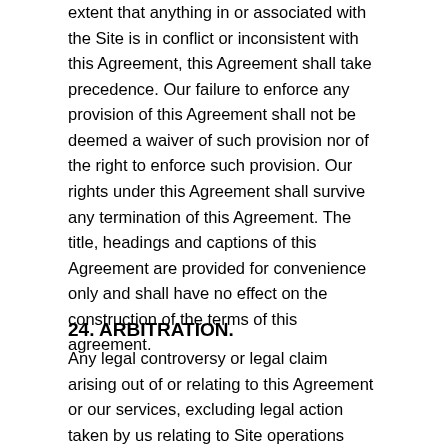extent that anything in or associated with the Site is in conflict or inconsistent with this Agreement, this Agreement shall take precedence. Our failure to enforce any provision of this Agreement shall not be deemed a waiver of such provision nor of the right to enforce such provision. Our rights under this Agreement shall survive any termination of this Agreement. The title, headings and captions of this Agreement are provided for convenience only and shall have no effect on the construction of the terms of this agreement.
24. ARBITRATION.
Any legal controversy or legal claim arising out of or relating to this Agreement or our services, excluding legal action taken by us relating to Site operations